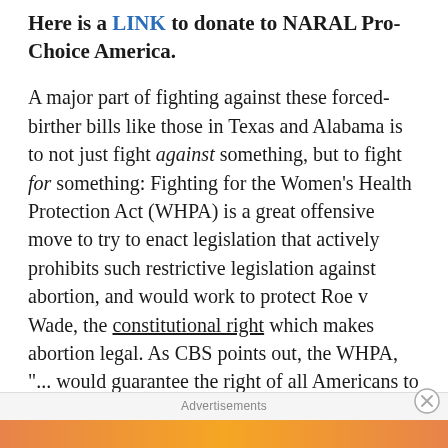Here is a LINK to donate to NARAL Pro-Choice America.
A major part of fighting against these forced-birther bills like those in Texas and Alabama is to not just fight against something, but to fight for something: Fighting for the Women's Health Protection Act (WHPA) is a great offensive move to try to enact legislation that actively prohibits such restrictive legislation against abortion, and would work to protect Roe v Wade, the constitutional right which makes abortion legal. As CBS points out, the WHPA, "... would guarantee the right of all Americans to access abortion care regardless of where they live." CBS Denver
Advertisements